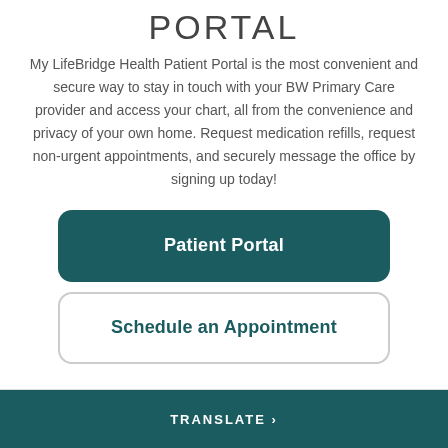PORTAL
My LifeBridge Health Patient Portal is the most convenient and secure way to stay in touch with your BW Primary Care provider and access your chart, all from the convenience and privacy of your own home. Request medication refills, request non-urgent appointments, and securely message the office by signing up today!
Patient Portal
Schedule an Appointment
TRANSLATE >